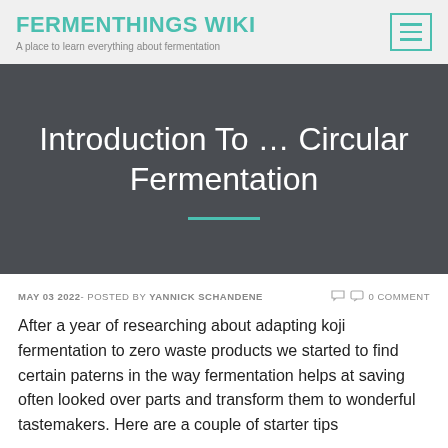FERMENTHINGS WIKI
A place to learn everything about fermentation
Introduction To … Circular Fermentation
MAY 03 2022- POSTED BY YANNICK SCHANDENE   🏷 💬 0 COMMENT
After a year of researching about adapting koji fermentation to zero waste products we started to find certain paterns in the way fermentation helps at saving often looked over parts and transform them to wonderful tastemakers. Here are a couple of starter tips